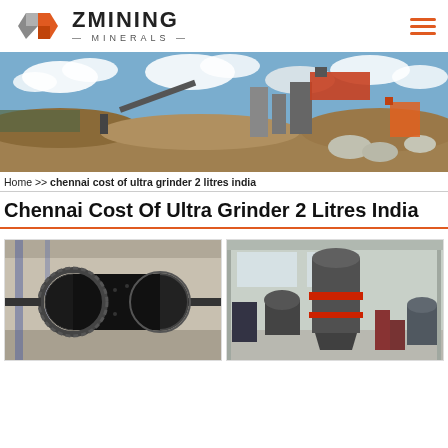[Figure (logo): ZMining Minerals logo with geometric hexagon icon in orange, red, and gray, with company name ZMINING MINERALS]
[Figure (photo): Panoramic photo of a mining site with industrial equipment, conveyor belts, silos, machinery on a dirt landscape under a cloudy sky]
Home >> chennai cost of ultra grinder 2 litres india
Chennai Cost Of Ultra Grinder 2 Litres India
[Figure (photo): Industrial ball mill machine, large cylindrical black metal drum with gear teeth, in a warehouse]
[Figure (photo): Industrial grinding mill tower in a factory warehouse, gray tower with red accents and additional machinery around it]